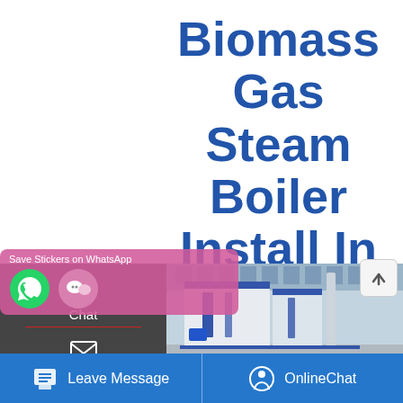Biomass Gas Steam Boiler Install In Bahrain
[Figure (photo): Industrial biomass gas steam boiler unit, white cabinet with blue accents, installed indoors]
Chat
Email
Contact
Save Stickers on WhatsApp
Leave Message
OnlineChat